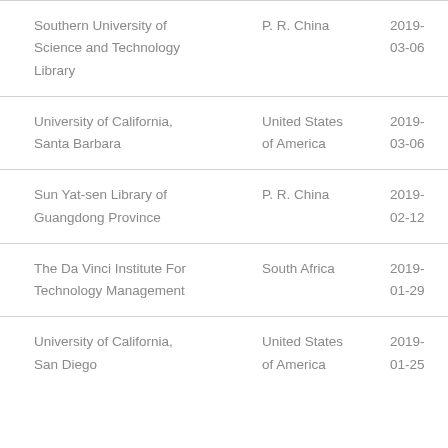| Southern University of Science and Technology Library | P. R. China | 2019-03-06 |
| University of California, Santa Barbara | United States of America | 2019-03-06 |
| Sun Yat-sen Library of Guangdong Province | P. R. China | 2019-02-12 |
| The Da Vinci Institute For Technology Management | South Africa | 2019-01-29 |
| University of California, San Diego | United States of America | 2019-01-25 |